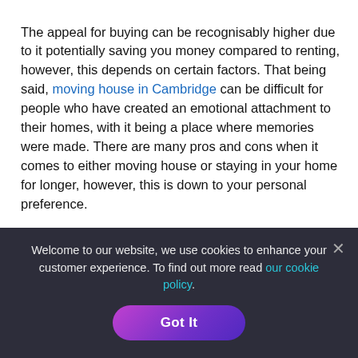The appeal for buying can be recognisably higher due to it potentially saving you money compared to renting, however, this depends on certain factors. That being said, moving house in Cambridge can be difficult for people who have created an emotional attachment to their homes, with it being a place where memories were made. There are many pros and cons when it comes to either moving house or staying in your home for longer, however, this is down to your personal preference.
In most cases, those who do choose the option to remortgage rather than moving house, as a means of making home improvements to their current property. Common projects we hear of people of taking on are extensions, kitchen renovations
Welcome to our website, we use cookies to enhance your customer experience. To find out more read our cookie policy.